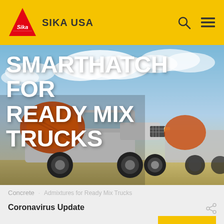SIKA USA
[Figure (photo): Hero image showing two ready mix concrete trucks parked side by side under a cloudy sky. The trucks are white with orange concrete drums. Large white bold text overlay reads SMARTHATCH FOR READY MIX TRUCKS.]
SMARTHATCH FOR READY MIX TRUCKS
Concrete
Admixtures for Ready Mix Trucks
Coronavirus Update
Read the Sika COVID-19 Update
2022.11 · USA